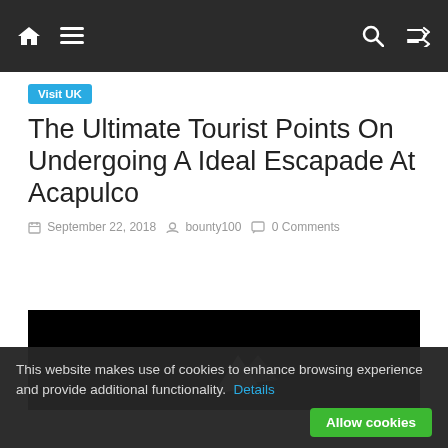Navigation bar with home icon, menu icon, search icon, shuffle icon
Visit UK
The Ultimate Tourist Points On Undergoing A Ideal Escapade At Acapulco
September 22, 2018  bounty100  0 Comments
[Figure (photo): Dark/black image with a white arrow or bird shape visible at the bottom center]
This website makes use of cookies to enhance browsing experience and provide additional functionality.  Details  Allow cookies